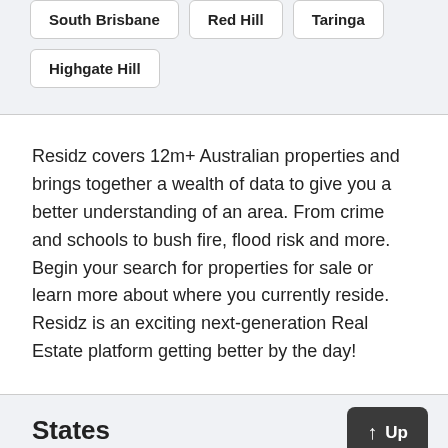South Brisbane
Red Hill
Taringa
Highgate Hill
Residz covers 12m+ Australian properties and brings together a wealth of data to give you a better understanding of an area. From crime and schools to bush fire, flood risk and more. Begin your search for properties for sale or learn more about where you currently reside. Residz is an exciting next-generation Real Estate platform getting better by the day!
States